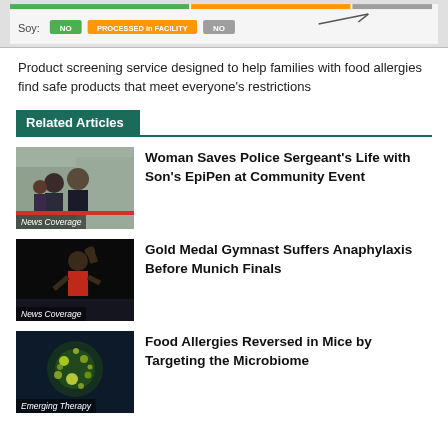[Figure (screenshot): Partial screenshot of a food allergy product screening table showing Soy row with NO (green), PROCESSED in FACILITY (orange), NO (gray) badges]
Product screening service designed to help families with food allergies find safe products that meet everyone's restrictions
Related Articles
[Figure (photo): Photo of a woman and a police sergeant standing together outside a house, with a red News Coverage label overlay]
Woman Saves Police Sergeant's Life with Son's EpiPen at Community Event
[Figure (photo): Photo of a gymnast celebrating with fist raised, wearing red, with a News Coverage label overlay]
Gold Medal Gymnast Suffers Anaphylaxis Before Munich Finals
[Figure (photo): Photo of a colorful microbiome-like illustration with green and yellow tones, with an Emerging Therapy label overlay]
Food Allergies Reversed in Mice by Targeting the Microbiome